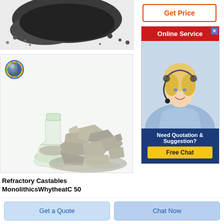[Figure (photo): Dark granular powder/material photographed on white background, top portion cropped]
[Figure (photo): Refractory castable material shown as a pile of gray aggregate/chunks next to a glass flask with fine powder, with a decorative globe/sphere icon in top-left corner]
Refractory Castables MonolithicsWhytheatC 50
[Figure (infographic): Get Price button - orange bordered button with orange text on white background]
[Figure (infographic): Online Service widget with red header, photo of blonde woman with headset, and Free Chat button. Text: Online Service, Need Quotation & Suggestion?, Free Chat]
[Figure (infographic): Get a Quote button - light blue button with blue text]
[Figure (infographic): Chat Now button - medium blue button with blue text]